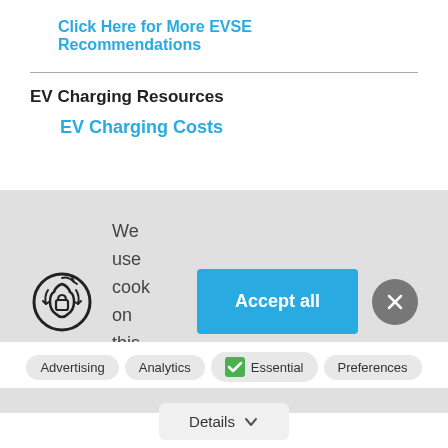Click Here for More EVSE Recommendations
EV Charging Resources
EV Charging Costs
[Figure (screenshot): Cookie consent banner with security icon, 'We use cookies on this site' text, 'Accept all' button, and close X button on grey background]
Advertising  Analytics  Essential  Preferences
Details